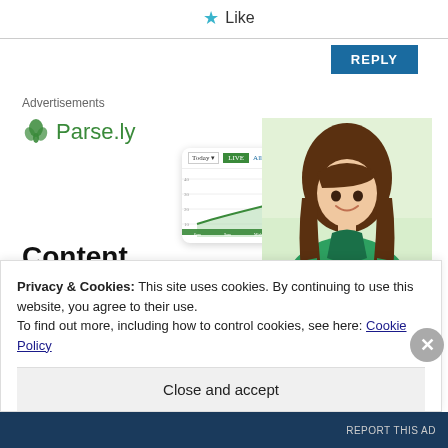★ Like
REPLY
Advertisements
[Figure (screenshot): Parse.ly advertisement banner showing logo, a dashboard analytics screenshot, a smiling woman in green sweater, and headline text 'Content Analytics Made Easy']
Privacy & Cookies: This site uses cookies. By continuing to use this website, you agree to their use.
To find out more, including how to control cookies, see here: Cookie Policy
Close and accept